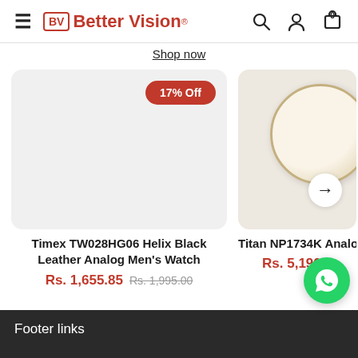Better Vision® — hamburger menu, search, account, cart (0)
Shop now
[Figure (screenshot): Product card 1: gray background card with 17% Off red badge, no watch image visible]
[Figure (photo): Product card 2 (partial): beige background with tan analog watch face visible, right arrow navigation button]
Timex TW028HG06 Helix Black Leather Analog Men's Watch
Rs. 1,655.85  Rs. 1,995.00
Titan NP1734K Analog M
Rs. 5,190.2
Footer links